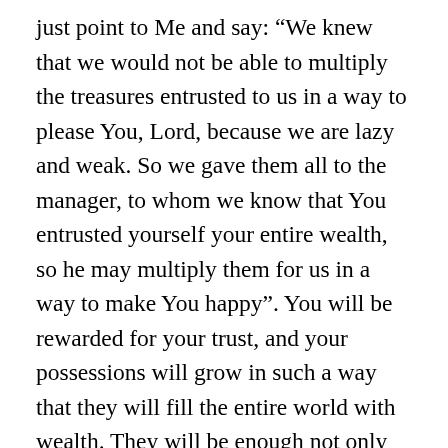just point to Me and say: “We knew that we would not be able to multiply the treasures entrusted to us in a way to please You, Lord, because we are lazy and weak. So we gave them all to the manager, to whom we know that You entrusted yourself your entire wealth, so he may multiply them for us in a way to make You happy”. You will be rewarded for your trust, and your possessions will grow in such a way that they will fill the entire world with wealth. They will be enough not only for you, but also for those who did not have anything. They will also be saved by receiving from your excess. I will multiply your sacrifices so that the excess, which will result after their multiplication, will spill over the entire earth. I bless you My children and I go happy, because I